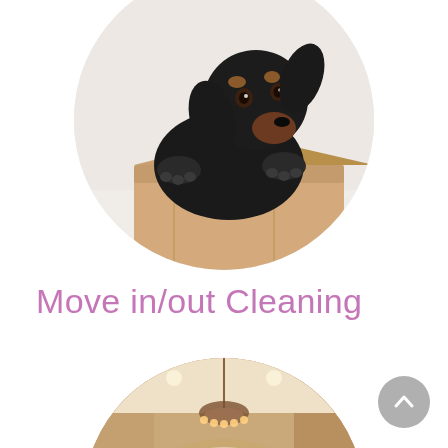[Figure (photo): Circular cropped photo of a black and tan dachshund dog peering over the edge of a cardboard moving box, on a light background.]
Move in/out Cleaning
[Figure (photo): Circular cropped photo of a clean hallway interior with arched doorways, recessed lighting, a decorative chandelier, and warm neutral tones.]